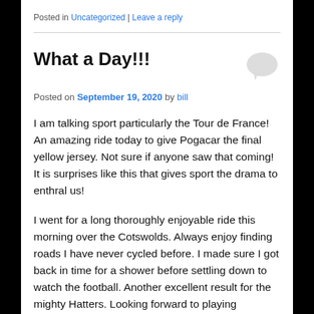Posted in Uncategorized | Leave a reply
What a Day!!!
Posted on September 19, 2020 by bill
I am talking sport particularly the Tour de France! An amazing ride today to give Pogacar the final yellow jersey. Not sure if anyone saw that coming! It is surprises like this that gives sport the drama to enthral us!
I went for a long thoroughly enjoyable ride this morning over the Cotswolds. Always enjoy finding roads I have never cycled before. I made sure I got back in time for a shower before settling down to watch the football. Another excellent result for the mighty Hatters. Looking forward to playing Manchester Utd on Tuesday!
Finishing off the sporting day a couple of pictures from